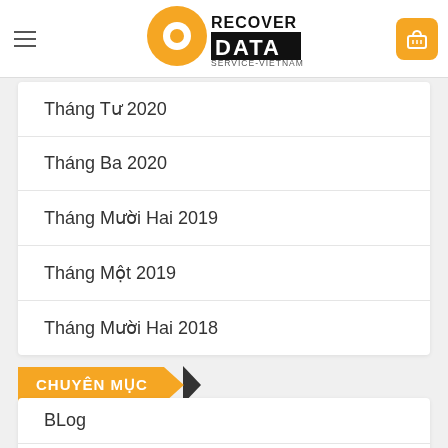Recover Data Service-Vietnam
Tháng Sáu 2020
Tháng Năm 2020
Tháng Tư 2020
Tháng Ba 2020
Tháng Mười Hai 2019
Tháng Một 2019
Tháng Mười Hai 2018
CHUYÊN MỤC
BLog
Chưa được phân loại
Cứu dữ liệu